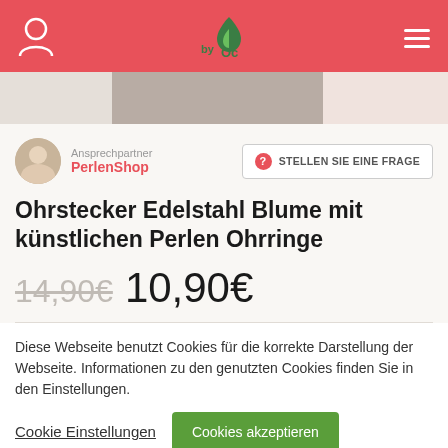byOc — navigation header with user icon, logo, and hamburger menu
[Figure (photo): Product image strip showing earrings on a blurred background]
Ansprechpartner
PerlenShop
STELLEN SIE EINE FRAGE
Ohrstecker Edelstahl Blume mit künstlichen Perlen Ohrringe
14,90€  10,90€
Diese Webseite benutzt Cookies für die korrekte Darstellung der Webseite. Informationen zu den genutzten Cookies finden Sie in den Einstellungen.
Cookie Einstellungen   Cookies akzeptieren